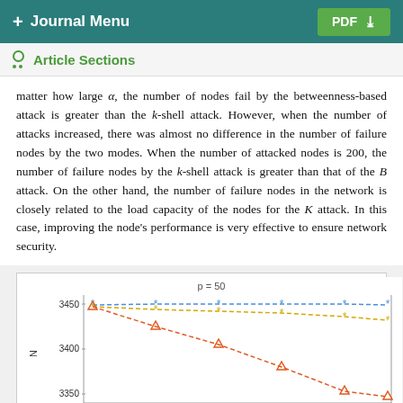+ Journal Menu   PDF ↓
Article Sections
matter how large α, the number of nodes fail by the betweenness-based attack is greater than the k-shell attack. However, when the number of attacks increased, there was almost no difference in the number of failure nodes by the two modes. When the number of attacked nodes is 200, the number of failure nodes by the k-shell attack is greater than that of the B attack. On the other hand, the number of failure nodes in the network is closely related to the load capacity of the nodes for the K attack. In this case, improving the node's performance is very effective to ensure network security.
[Figure (line-chart): Line chart showing N vs number of attacked nodes for p=50, with multiple series. Y-axis values visible: 3350, 3400, 3450. Multiple colored dashed lines with markers (triangles and asterisks).]